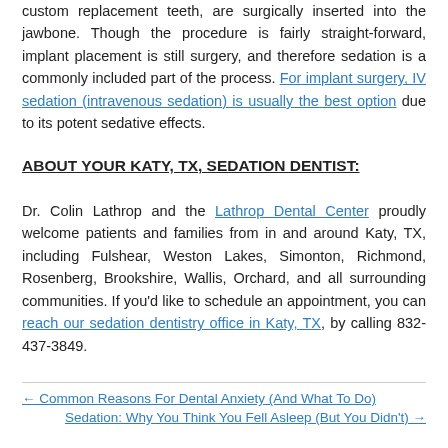custom replacement teeth, are surgically inserted into the jawbone. Though the procedure is fairly straight-forward, implant placement is still surgery, and therefore sedation is a commonly included part of the process. For implant surgery, IV sedation (intravenous sedation) is usually the best option due to its potent sedative effects.
ABOUT YOUR KATY, TX, SEDATION DENTIST:
Dr. Colin Lathrop and the Lathrop Dental Center proudly welcome patients and families from in and around Katy, TX, including Fulshear, Weston Lakes, Simonton, Richmond, Rosenberg, Brookshire, Wallis, Orchard, and all surrounding communities. If you'd like to schedule an appointment, you can reach our sedation dentistry office in Katy, TX, by calling 832-437-3849.
← Common Reasons For Dental Anxiety (And What To Do)
Sedation: Why You Think You Fell Asleep (But You Didn't) →